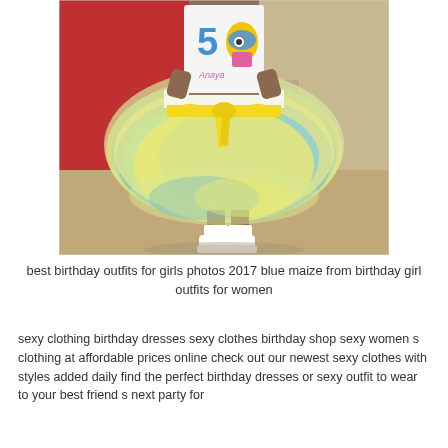[Figure (photo): A child wearing a colorful tutu skirt in yellow, blue, and green tones with a yellow satin bow at the waist, and a white birthday shirt with a Minion character and the name 'Anaya'. The child also wears white sneakers and white socks. Background includes a red door and concrete floor.]
best birthday outfits for girls photos 2017 blue maize from birthday girl outfits for women
sexy clothing birthday dresses sexy clothes birthday shop sexy women s clothing at affordable prices online check out our newest sexy clothes with styles added daily find the perfect birthday dresses or sexy outfit to wear to your best friend s next party for